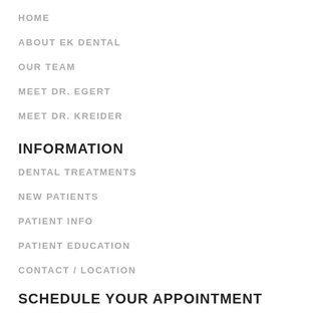HOME
ABOUT EK DENTAL
OUR TEAM
MEET DR. EGERT
MEET DR. KREIDER
INFORMATION
DENTAL TREATMENTS
NEW PATIENTS
PATIENT INFO
PATIENT EDUCATION
CONTACT / LOCATION
SCHEDULE YOUR APPOINTMENT